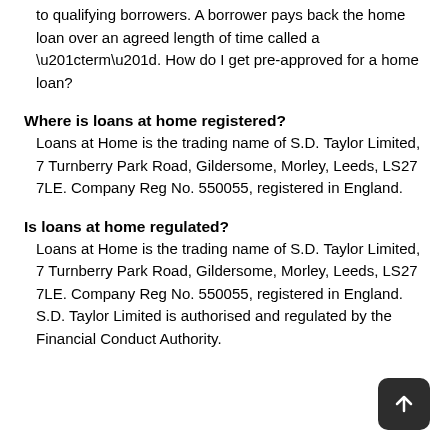to qualifying borrowers. A borrower pays back the home loan over an agreed length of time called a “term”. How do I get pre-approved for a home loan?
Where is loans at home registered?
Loans at Home is the trading name of S.D. Taylor Limited, 7 Turnberry Park Road, Gildersome, Morley, Leeds, LS27 7LE. Company Reg No. 550055, registered in England.
Is loans at home regulated?
Loans at Home is the trading name of S.D. Taylor Limited, 7 Turnberry Park Road, Gildersome, Morley, Leeds, LS27 7LE. Company Reg No. 550055, registered in England. S.D. Taylor Limited is authorised and regulated by the Financial Conduct Authority.